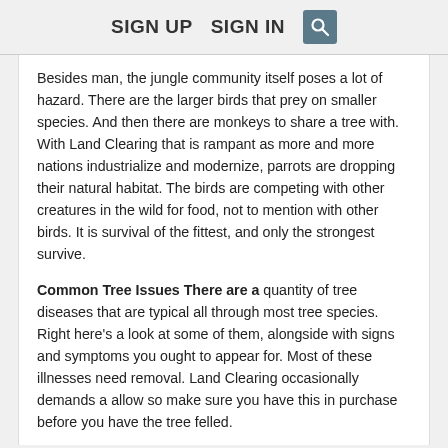SIGN UP   SIGN IN
Besides man, the jungle community itself poses a lot of hazard. There are the larger birds that prey on smaller species. And then there are monkeys to share a tree with. With Land Clearing that is rampant as more and more nations industrialize and modernize, parrots are dropping their natural habitat. The birds are competing with other creatures in the wild for food, not to mention with other birds. It is survival of the fittest, and only the strongest survive.
Common Tree Issues There are a quantity of tree diseases that are typical all through most tree species. Right here's a look at some of them, alongside with signs and symptoms you ought to appear for. Most of these illnesses need removal. Land Clearing occasionally demands a allow so make sure you have this in purchase before you have the tree felled.
Inventory all trees and large shrubs for feasible trimming needs. These may be limbs that are weak, dead, or even just too close to the home or utility traces. If experts are needed for trimming or Land Clearing, now is the time to do it. They will be as well active when the storm is on the way.
"Folks were so appreciative, it just breaks your heart to see them